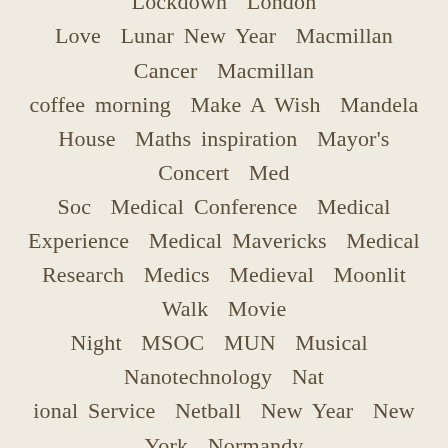Sport House Sports House Triathlon Identity Induction Induction Week Inspiration Interviews Jousting Kenya Knowledge Lateral Flow Law Law School Lecture Life lessons Lifeguards Llangollen Lockdown London Love Lunar New Year Macmillan Cancer Macmillan coffee morning Make A Wish Mandela House Maths inspiration Mayor's Concert Med Soc Medical Conference Medical Experience Medical Mavericks Medical Research Medics Medieval Moonlit Walk Movie Night MSOC MUN Musical Nanotechnology National Service Netball New Year New York Normandy trip November Olympiad Online Online Learning Orientation Outdoor Education Outreach Oxford Oxford Schools Pandemic Performance Photography Physics Placement Podcast Poetry Pro-